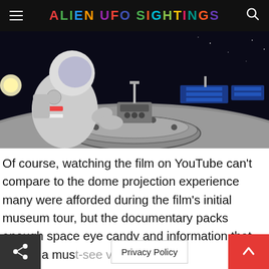ALIEN UFO SIGHTINGS
[Figure (photo): Astronaut in spacesuit bending over a circular hatch or device on the surface of the Moon, with solar panels and space equipment in the background against a dark starry sky. Rendered 3D illustration.]
Of course, watching the film on YouTube can't compare to the dome projection experience many were afforded during the film's initial museum tour, but the documentary packs enough space eye candy and information that it's still a must-see video
Privacy Policy